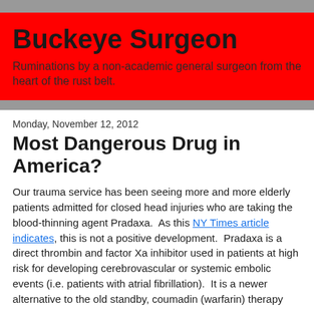Buckeye Surgeon
Ruminations by a non-academic general surgeon from the heart of the rust belt.
Monday, November 12, 2012
Most Dangerous Drug in America?
Our trauma service has been seeing more and more elderly patients admitted for closed head injuries who are taking the blood-thinning agent Pradaxa.  As this NY Times article indicates, this is not a positive development.  Pradaxa is a direct thrombin and factor Xa inhibitor used in patients at high risk for developing cerebrovascular or systemic embolic events (i.e. patients with atrial fibrillation).  It is a newer alternative to the old standby, coumadin (warfarin) therapy